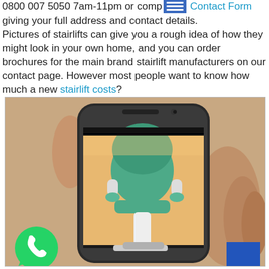0800 007 5050 7am-11pm or complete our Contact Form giving your full address and contact details. Pictures of stairlifts can give you a rough idea of how they might look in your own home, and you can order brochures for the main brand stairlift manufacturers on our contact page. However most people want to know how much a new stairlift costs?
[Figure (photo): A hand holding a smartphone displaying a stairlift (green seat) on its screen. A WhatsApp icon is visible in the bottom left corner and a blue square in the bottom right.]